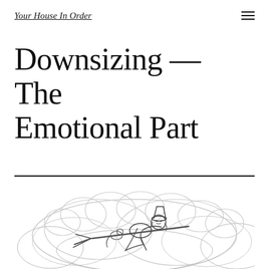Your House In Order
Downsizing — The Emotional Part
[Figure (illustration): Pencil sketch illustration of a witch riding a broomstick over clouds, partially visible at the bottom of the page.]